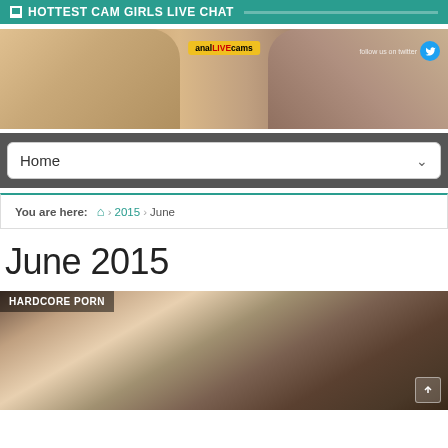HOTTEST CAM GIRLS LIVE CHAT
[Figure (photo): Adult advertisement banner image with anal LIVE cams branding and Twitter follow overlay]
Home
You are here: Home > 2015 > June
June 2015
[Figure (photo): Hardcore porn article thumbnail showing people, with HARDCORE PORN category tag]